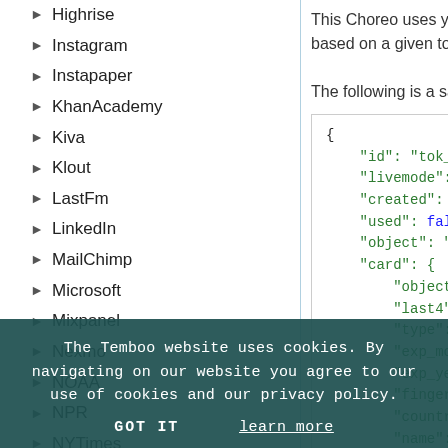Highrise
Instagram
Instapaper
KhanAcademy
Kiva
Klout
LastFm
LinkedIn
MailChimp
Microsoft
Mixpanel
Nexmo
NOAA
NPR
NYTimes
OneLogin
PagerDuty
Runkeeper
Salesforce
SendGrid
Socrata
This Choreo uses your API Key to based on a given token ID. The The following is a sample of the
[Figure (screenshot): JSON code block showing a Stripe token object with fields: id, livemode: false, created: 1336424279, used: false, object: token, card: { object: card, last4: 4242, type: Visa, exp_month: 12, exp_year: 2012, fingerprint: qhjxpr7Di..., country: US, name: null, address_city: null }]
The Temboo website uses cookies. By navigating on our website you agree to our use of cookies and our privacy policy.
GOT IT
learn more